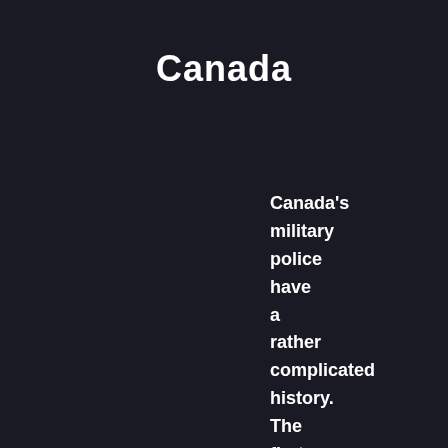Canada
Canada's military police have a rather complicated history. The first MP units were formed at the start of World War